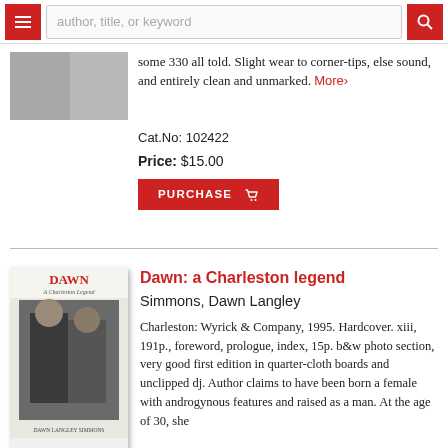author, title, or keyword [search bar with hamburger menu and search button]
some 330 all told. Slight wear to corner-tips, else sound, and entirely clean and unmarked. More›
Cat.No: 102422
Price: $15.00
PURCHASE
Dawn: a Charleston legend
Simmons, Dawn Langley
Charleston: Wyrick & Company, 1995. Hardcover. xiii, 191p., foreword, prologue, index, 15p. b&w photo section, very good first edition in quarter-cloth boards and unclipped dj. Author claims to have been born a female with androgynous features and raised as a man. At the age of 30, she